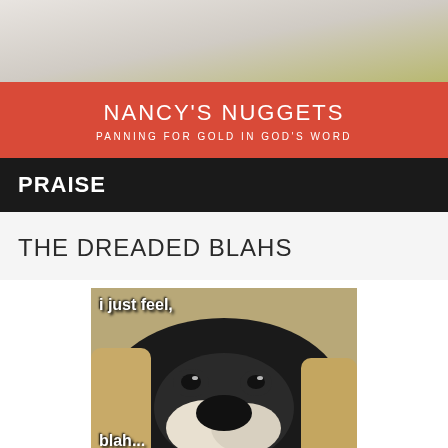[Figure (photo): Top portion of a photo showing a person wearing a white shirt and decorative necklace, with green foliage in background]
NANCY'S NUGGETS
PANNING FOR GOLD IN GOD'S WORD
PRAISE
THE DREADED BLAHS
[Figure (photo): Meme image of a sad-looking dog (boxer breed) with text 'i just feel, blah...']